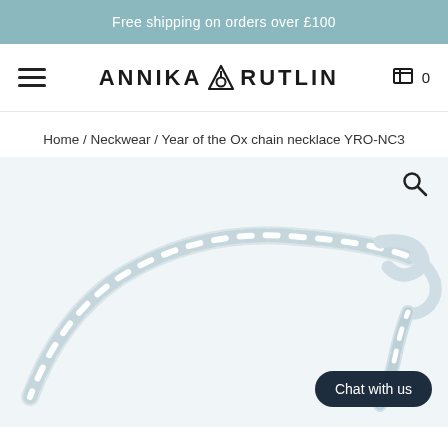Free shipping on orders over £100
[Figure (logo): Annika Rutlin brand logo with hamburger menu and shopping cart icon showing 0 items]
Home / Neckwear / Year of the Ox chain necklace YRO-NC3
[Figure (photo): Silver chain necklace - Year of the Ox chain necklace YRO-NC3, showing a close-up of the silver chain links and clasp against a light background. A chat button and search icon are overlaid.]